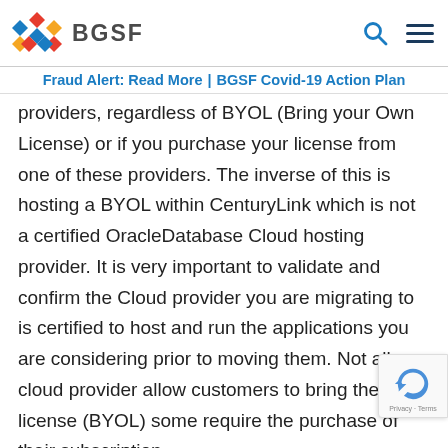BGSF
Fraud Alert: Read More | BGSF Covid-19 Action Plan
providers, regardless of BYOL (Bring your Own License) or if you purchase your license from one of these providers. The inverse of this is hosting a BYOL within CenturyLink which is not a certified OracleDatabase Cloud hosting provider. It is very important to validate and confirm the Cloud provider you are migrating to is certified to host and run the applications you are considering prior to moving them. Not all cloud provider allow customers to bring their own license (BYOL) some require the purchase of their subscription